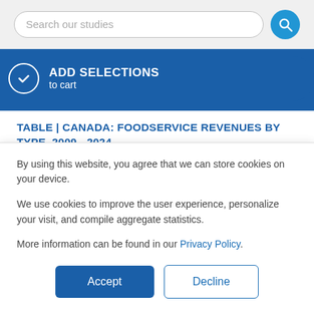[Figure (screenshot): Search bar with text 'Search our studies' and blue circular search button]
[Figure (screenshot): Blue 'ADD SELECTIONS to cart' button with checkmark circle icon]
TABLE | CANADA: FOODSERVICE REVENUES BY TYPE, 2009 - 2024
4.4.3 CANADA: LEADING FOODSERVICE CHAINS
By using this website, you agree that we can store cookies on your device.
We use cookies to improve the user experience, personalize your visit, and compile aggregate statistics.
More information can be found in our Privacy Policy.
[Figure (screenshot): Accept and Decline buttons for cookie consent]